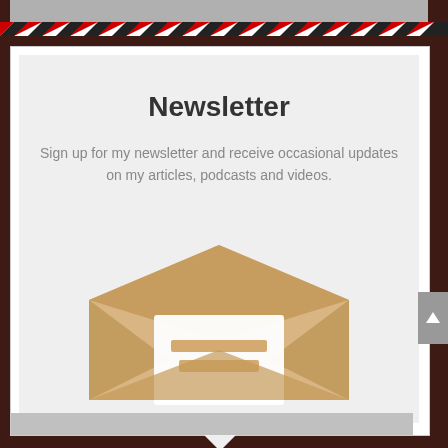[Figure (illustration): Air mail diagonal stripe border in red and black alternating pattern across the top of the page]
Newsletter
Sign up for my newsletter and receive occasional updates on my articles, podcasts and videos.
[Figure (illustration): Open envelope icon in tan/beige color with a letter inside showing text lines, and wing-like flaps opened outward]